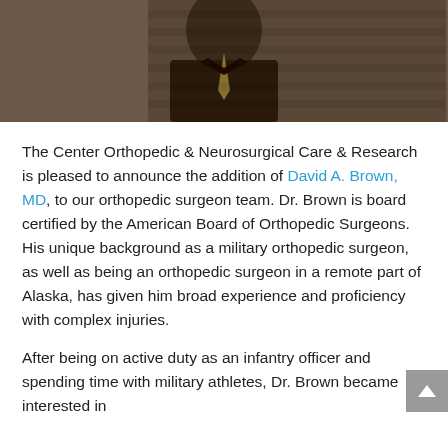[Figure (photo): Portrait photo of Dr. David A. Brown, MD, partially visible — shows upper body in dark jacket with tan/gold tie against a brick wall background]
The Center Orthopedic & Neurosurgical Care & Research is pleased to announce the addition of David A. Brown, MD, to our orthopedic surgeon team. Dr. Brown is board certified by the American Board of Orthopedic Surgeons. His unique background as a military orthopedic surgeon, as well as being an orthopedic surgeon in a remote part of Alaska, has given him broad experience and proficiency with complex injuries.
After being on active duty as an infantry officer and spending time with military athletes, Dr. Brown became interested in orthopedic surgery and has well...